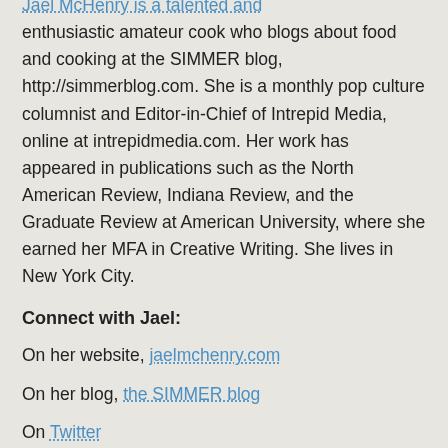Jael McHenry is a talented and enthusiastic amateur cook who blogs about food and cooking at the SIMMER blog, http://simmerblog.com. She is a monthly pop culture columnist and Editor-in-Chief of Intrepid Media, online at intrepidmedia.com. Her work has appeared in publications such as the North American Review, Indiana Review, and the Graduate Review at American University, where she earned her MFA in Creative Writing. She lives in New York City.
Connect with Jael:
On her website, jaelmchenry.com
On her blog, the SIMMER blog
On Twitter
On Facebook